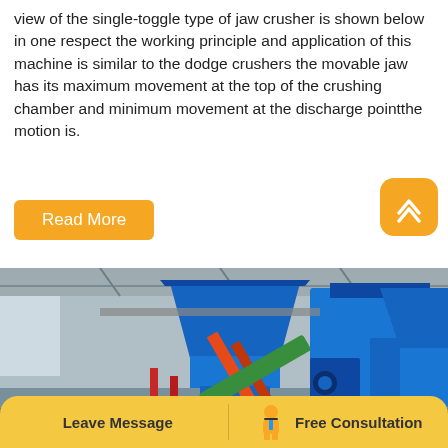view of the single-toggle type of jaw crusher is shown below in one respect the working principle and application of this machine is similar to the dodge crushers the movable jaw has its maximum movement at the top of the crushing chamber and minimum movement at the discharge pointthe motion is.
[Figure (other): Orange rounded rectangle button labeled 'Read More']
[Figure (photo): Industrial factory interior showing large blue jaw crusher machinery with orange/red conveyor belt structure. A QR code is overlaid in the top-left corner of the photo.]
[Figure (other): Bottom navigation bar with 'Leave Message' on left and 'Free Consultation' with icon on right, gold/yellow background]